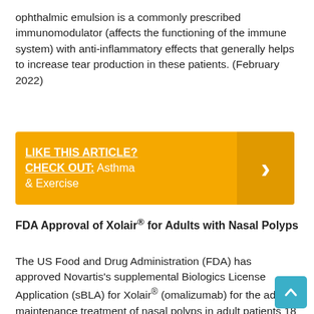ophthalmic emulsion is a commonly prescribed immunomodulator (affects the functioning of the immune system) with anti-inflammatory effects that generally helps to increase tear production in these patients. (February 2022)
[Figure (infographic): Yellow promotional banner: 'LIKE THIS ARTICLE? CHECK OUT: Asthma & Exercise' with a right arrow chevron on the right side in a darker orange box.]
FDA Approval of Xolair® for Adults with Nasal Polyps
The US Food and Drug Administration (FDA) has approved Novartis's supplemental Biologics License Application (sBLA) for Xolair® (omalizumab) for the add-on maintenance treatment of nasal polyps in adult patients 18 years of age and older with inadequate response to nasal corticosteroids. Nasal polyps can lead to a loss